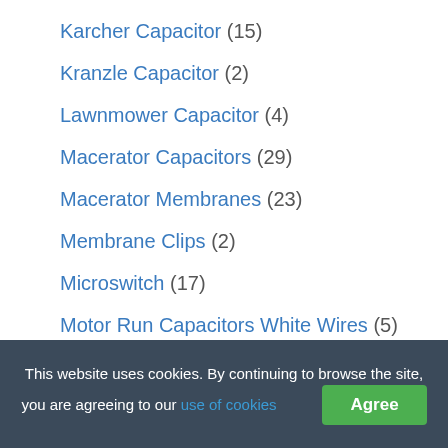Karcher Capacitor (15)
Kranzle Capacitor (2)
Lawnmower Capacitor (4)
Macerator Capacitors (29)
Macerator Membranes (23)
Membrane Clips (2)
Microswitch (17)
Motor Run Capacitors White Wires (5)
Non Return Valve (17)
Oven Elements (105)
Power Washer Acessories (1)
This website uses cookies. By continuing to browse the site, you are agreeing to our use of cookies